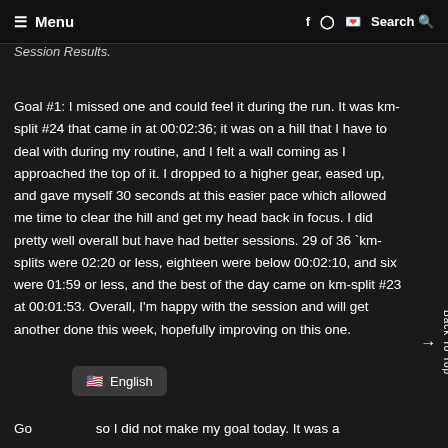☰ Menu   f  ⊙  🐦  Search 🔍
Session Results.
Goal #1: I missed one and could feel it during the run. It was km-split #24 that came in at 00:02:36; it was on a hill that I have to deal with during my routine, and I felt a wall coming as I approached the top of it. I dropped to a higher gear, eased up, and gave myself 30 seconds at this easier pace which allowed me time to clear the hill and get my head back in focus. I did pretty well overall but have had better sessions. 29 of 36 `km-splits were 02:20 or less, eighteen were below 00:02:10, and six were 01:59 or less, and the best of the day came on km-split #23 at 00:01:53. Overall, I'm happy with the session and will get another done this week, hopefully improving on this one.
Go...so I did not make my goal today. It was a